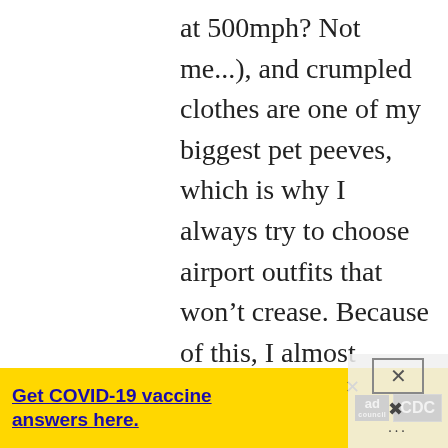at 500mph? Not me...), and crumpled clothes are one of my biggest pet peeves, which is why I always try to choose airport outfits that won't crease. Because of this, I almost always end up in jeans: I know a lot of people find them too uncomfortable to fly in, but I've never found that to be the case – as long as they fulfil the criteria above, they're good. The jeans in these photos have a lot of stretch to them, so they're really
[Figure (screenshot): Yellow advertisement banner for COVID-19 vaccine information from Ad Council and CDC, with a close button and overlay icons in the bottom-right corner.]